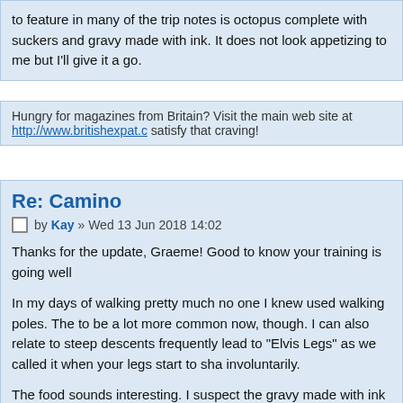to feature in many of the trip notes is octopus complete with suckers and gravy made with ink. It does not look appetizing to me but I'll give it a go.
Hungry for magazines from Britain? Visit the main web site at http://www.britishexpat.c... satisfy that craving!
Re: Camino
by Kay » Wed 13 Jun 2018 14:02
Thanks for the update, Graeme! Good to know your training is going well
In my days of walking pretty much no one I knew used walking poles. The to be a lot more common now, though. I can also relate to steep descents frequently lead to "Elvis Legs" as we called it when your legs start to sha involuntarily.
The food sounds interesting. I suspect the gravy made with ink is squid i quite commonly used for all sorts of things these days. If you ever see a pasta, you can probably bet on it that the colour has come from squid ink is also a fairly common dish for the region. If it's cooked properly it can b otherwise it's rubbery - same as squid. With squid you either need to coo quickly or very slowly. Anything in between results in a rubbery texture. H admit I'm also a bit put off by big chunks of octopus complete with sucke give it a try.